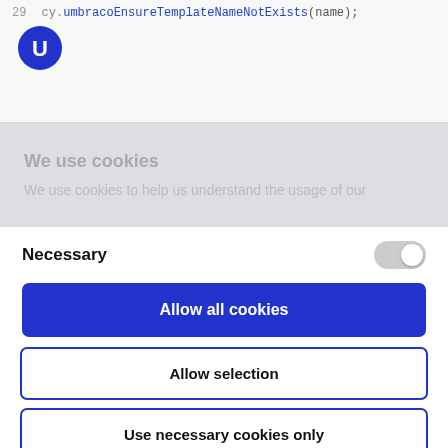[Figure (screenshot): Code line 29 showing cy.umbracoEnsureTemplateNameNotExists(name);]
[Figure (logo): Umbraco circular blue logo with white U letter]
We use cookies
We use cookies to help us understand the usage of our
Necessary
[Figure (other): Toggle switch in off/grey state]
Allow all cookies
Allow selection
Use necessary cookies only
Powered by Cookiebot by Usercentrics